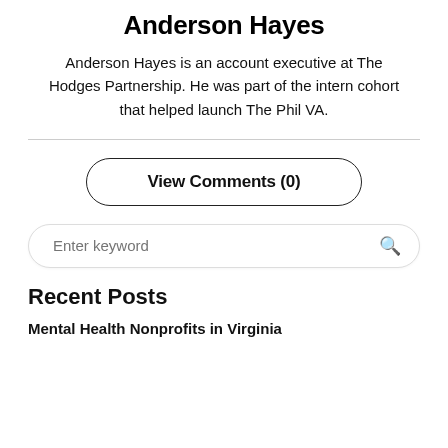Anderson Hayes
Anderson Hayes is an account executive at The Hodges Partnership. He was part of the intern cohort that helped launch The Phil VA.
View Comments (0)
Enter keyword
Recent Posts
Mental Health Nonprofits in Virginia